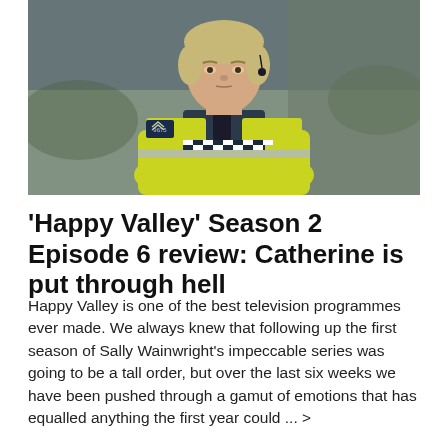[Figure (photo): A female police officer in a yellow-green hi-vis jacket with blue and white checkered band, wearing an earpiece and radio, looking directly at camera with a serious expression. Background is a stone wall in a rural setting.]
'Happy Valley' Season 2 Episode 6 review: Catherine is put through hell
Happy Valley is one of the best television programmes ever made. We always knew that following up the first season of Sally Wainwright's impeccable series was going to be a tall order, but over the last six weeks we have been pushed through a gamut of emotions that has equalled anything the first year could ... >